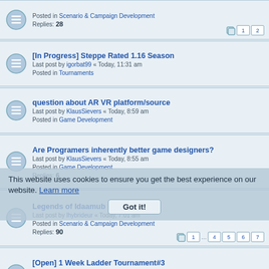Posted in Scenario & Campaign Development
Replies: 28
[In Progress] Steppe Rated 1.16 Season
Last post by igorbat99 « Today, 11:31 am
Posted in Tournaments
question about AR VR platform/source
Last post by KlausSievers « Today, 8:59 am
Posted in Game Development
Are Programers inherently better game designers?
Last post by KlausSievers « Today, 8:55 am
Posted in Game Development
Replies: 6
Legends of Idaamub
Last post by lhybrideur « Today, 7:01 am
Posted in Scenario & Campaign Development
Replies: 90
[Open] 1 Week Ladder Tournament#3
Last post by DanieleMurgioni « Yesterday, 9:24 pm
Posted in Tournaments
Replies: 40
Wesnoth 1.17.7
Last post by Pentarctagon « Yesterday, 2:59 pm
Posted in Release Announcements, Compiling & Installation
Replies: 2
Temuchin Khan's maps - Oops
Last post by Temuchin Khan « Yesterday, 12:24 pm
Posted in Multiplayer Development